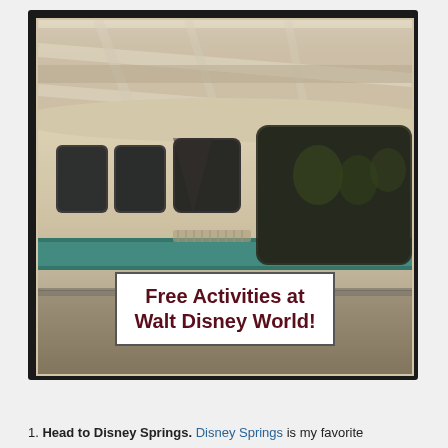[Figure (photo): Photo of Disney monorail train at a station, cream/beige colored train with teal stripe, modern station canopy overhead. Overlaid white text box with title 'Free Activities at Walt Disney World!']
1. Head to Disney Springs. Disney Springs is my favorite